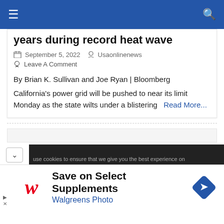Navigation bar with hamburger menu and search icon
years during record heat wave
September 5, 2022   Usaonlinenews
Leave A Comment
By Brian K. Sullivan and Joe Ryan | Bloomberg
California's power grid will be pushed to near its limit Monday as the state wilts under a blistering   Read More...
use cookies to ensure that we give you the best experience on
[Figure (logo): Walgreens cursive W logo in red]
Save on Select Supplements
Walgreens Photo